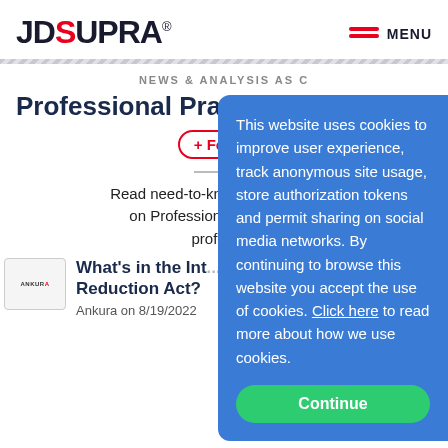JD SUPRA® — MENU
NEWS & ANALYSIS AS C...
Professional Prac...
+ Follow
Read need-to-know updates, ... on Professional Practice is... professi...
What's in the Int... Reduction Act?
Ankura on 8/19/2022
This website uses cookies to improve user experience, track anonymous site usage, store authorization tokens and permit sharing on social media networks. By continuing to browse this website you accept the use of cookies. Click here to read more about how we use cookies.
Continue